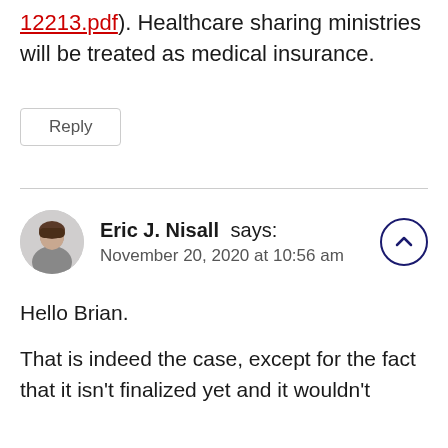12213.pdf). Healthcare sharing ministries will be treated as medical insurance.
Reply
Eric J. Nisall says: November 20, 2020 at 10:56 am
[Figure (photo): Circular avatar photo of Eric J. Nisall, a man with dark hair]
Hello Brian.
That is indeed the case, except for the fact that it isn't finalized yet and it wouldn't